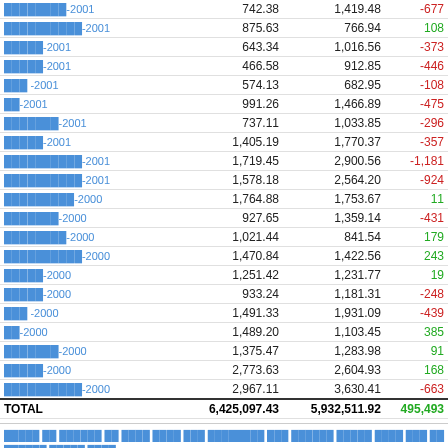|  | Col2 | Col3 | Diff |
| --- | --- | --- | --- |
| ░░░░░░░░-2001 | 742.38 | 1,419.48 | -677 |
| ░░░░░░░░░░-2001 | 875.63 | 766.94 | 108 |
| ░░░░░-2001 | 643.34 | 1,016.56 | -373 |
| ░░░░░-2001 | 466.58 | 912.85 | -446 |
| ░░░ -2001 | 574.13 | 682.95 | -108 |
| ░░-2001 | 991.26 | 1,466.89 | -475 |
| ░░░░░░░-2001 | 737.11 | 1,033.85 | -296 |
| ░░░░░-2001 | 1,405.19 | 1,770.37 | -357 |
| ░░░░░░░░░░-2001 | 1,719.45 | 2,900.56 | -1,181 |
| ░░░░░░░░░░-2001 | 1,578.18 | 2,564.20 | -924 |
| ░░░░░░░░░-2000 | 1,764.88 | 1,753.67 | 11 |
| ░░░░░░░-2000 | 927.65 | 1,359.14 | -431 |
| ░░░░░░░░-2000 | 1,021.44 | 841.54 | 179 |
| ░░░░░░░░░░-2000 | 1,470.84 | 1,422.56 | 243 |
| ░░░░░-2000 | 1,251.42 | 1,231.77 | 19 |
| ░░░░░-2000 | 933.24 | 1,181.31 | -248 |
| ░░░ -2000 | 1,491.33 | 1,931.09 | -439 |
| ░░-2000 | 1,489.20 | 1,103.45 | 385 |
| ░░░░░░░-2000 | 1,375.47 | 1,283.98 | 91 |
| ░░░░░-2000 | 2,773.63 | 2,604.93 | 168 |
| ░░░░░░░░░░-2000 | 2,967.11 | 3,630.41 | -663 |
| TOTAL | 6,425,097.43 | 5,932,511.92 | 495,493 |
░░░░░ ░░ ░░░░░░ ░░ ░░░░ ░░░░ ░░░ ░░░░░░░░ ░░░ ░░░░░░ ░░░░░ ░░░░ ░░░ ░░ ░░░░░░ ░░░░░ ░░░░